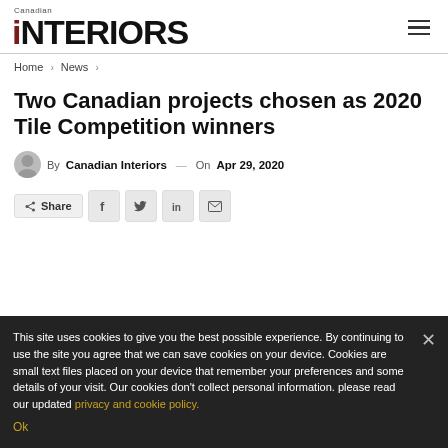Canadian Interiors
Home > News >
Two Canadian projects chosen as 2020 Tile Competition winners
By Canadian Interiors — On Apr 29, 2020
Share
This site uses cookies to give you the best possible experience. By continuing to use the site you agree that we can save cookies on your device. Cookies are small text files placed on your device that remember your preferences and some details of your visit. Our cookies don't collect personal information. please read our updated privacy and cookie policy. Ok